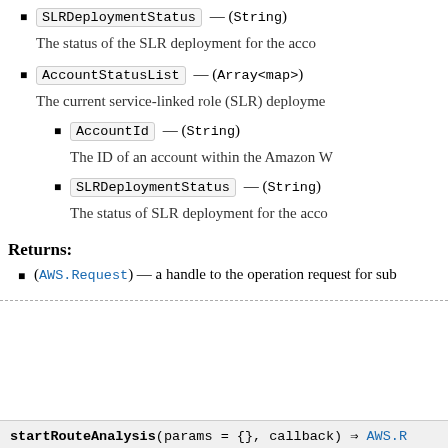SLRDeploymentStatus — (String) The status of the SLR deployment for the account.
AccountStatusList — (Array<map>) The current service-linked role (SLR) deployment status.
AccountId — (String) The ID of an account within the Amazon W...
SLRDeploymentStatus — (String) The status of SLR deployment for the account.
Returns:
(AWS.Request) — a handle to the operation request for sub...
startRouteAnalysis(params = {}, callback) ⇒ AWS.R...